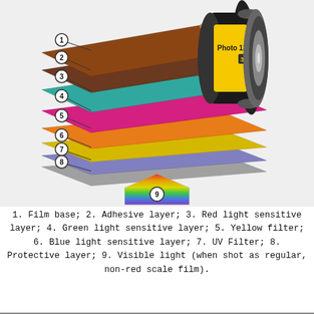[Figure (schematic): Exploded diagram of photographic film layers. A film canister labeled 'Photo 135 36 exp' unrolls to show 8 labeled layers: 1=Film base (brown), 2=Adhesive layer (dark brown), 3=Red light sensitive layer (teal/cyan), 4=Green light sensitive layer (magenta/pink), 5=Yellow filter (orange/yellow), 6=Blue light sensitive layer (yellow-gold), 7=UV Filter (lavender/blue), 8=Protective layer (gray). Below the layers is item 9: a pentagon-shaped gradient patch showing visible light spectrum (red at top, through yellow, green, blue-violet).]
1. Film base; 2. Adhesive layer; 3. Red light sensitive layer; 4. Green light sensitive layer; 5. Yellow filter; 6. Blue light sensitive layer; 7. UV Filter; 8. Protective layer; 9. Visible light (when shot as regular, non-red scale film).